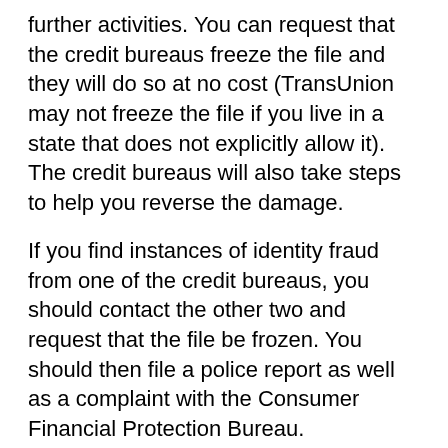further activities. You can request that the credit bureaus freeze the file and they will do so at no cost (TransUnion may not freeze the file if you live in a state that does not explicitly allow it). The credit bureaus will also take steps to help you reverse the damage.
If you find instances of identity fraud from one of the credit bureaus, you should contact the other two and request that the file be frozen. You should then file a police report as well as a complaint with the Consumer Financial Protection Bureau.
Just because no one has found your credit file and made a claim against it doesn't mean it can't happen. Make it a practice of checking at least once per year.
[Figure (other): Google Rating overlay card showing the Google 'G' logo, text 'Google Rating', score '5.0' and five orange stars, overlaid on the bottom portion of the page text with a green progress bar visible behind.]